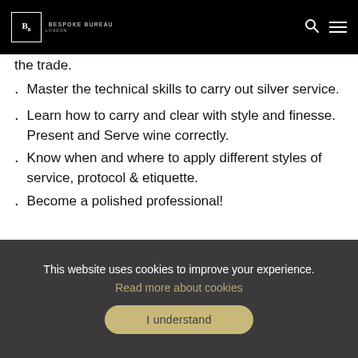Bespoke Bureau London
the trade.
Master the technical skills to carry out silver service.
Learn how to carry and clear with style and finesse. Present and Serve wine correctly.
Know when and where to apply different styles of service, protocol & etiquette.
Become a polished professional!
[Figure (photo): Gray placeholder image area]
This website uses cookies to improve your experience. Read more about cookies
I understand